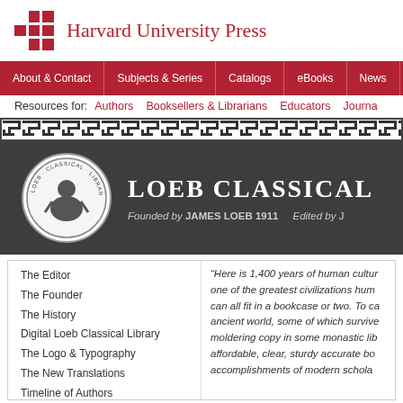[Figure (logo): Harvard University Press logo with red grid icon and text]
About & Contact | Subjects & Series | Catalogs | eBooks | News | Ord...
Resources for: Authors  Booksellers & Librarians  Educators  Journa...
[Figure (illustration): Loeb Classical Library banner with Greek key border, medallion seal, title LOEB CLASSICAL, Founded by JAMES LOEB 1911, Edited by...]
The Editor
The Founder
The History
Digital Loeb Classical Library
The Logo & Typography
The New Translations
Timeline of Authors
LCL Brochure, 2021
“Here is 1,400 years of human cultur... one of the greatest civilizations hum... can all fit in a bookcase or two. To ca... ancient world, some of which survive... moldering copy in some monastic lib... affordable, clear, sturdy accurate bo... accomplishments of modern scholar...